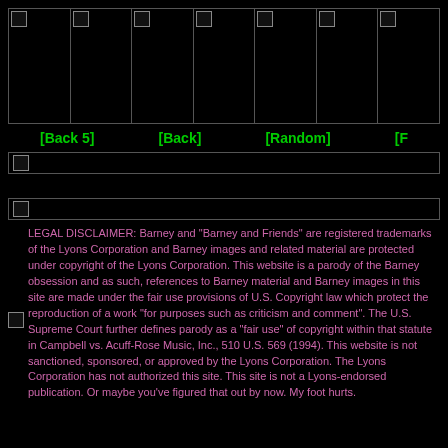[Figure (other): Row of 7 broken image placeholders in a bordered grid]
[Back 5]    [Back]    [Random]    [F
[Figure (other): Horizontal divider bar with broken image icon on left]
[Figure (other): Second horizontal divider bar with broken image icon on left]
LEGAL DISCLAIMER: Barney and "Barney and Friends" are registered trademarks of the Lyons Corporation and Barney images and related material are protected under copyright of the Lyons Corporation. This website is a parody of the Barney obsession and as such, references to Barney material and Barney images in this site are made under the fair use provisions of U.S. Copyright law which protect the reproduction of a work "for purposes such as criticism and comment". The U.S. Supreme Court further defines parody as a "fair use" of copyright within that statute in Campbell vs. Acuff-Rose Music, Inc., 510 U.S. 569 (1994). This website is not sanctioned, sponsored, or approved by the Lyons Corporation. The Lyons Corporation has not authorized this site. This site is not a Lyons-endorsed publication. Or maybe you've figured that out by now. My foot hurts.